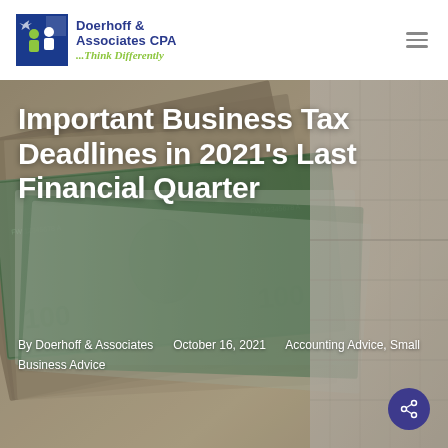[Figure (logo): Doerhoff & Associates CPA logo with icon of people and tagline 'Think Differently']
[Figure (photo): Background hero image showing fanned-out US dollar bills and currency, used as backdrop for article title]
Important Business Tax Deadlines in 2021's Last Financial Quarter
By Doerhoff & Associates    October 16, 2021    Accounting Advice, Small Business Advice